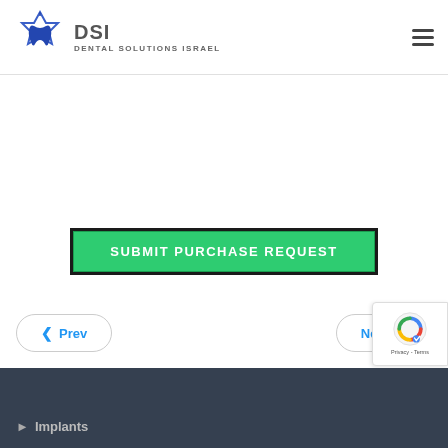[Figure (logo): DSI Dental Solutions Israel logo with tooth and Star of David icon in blue]
SUBMIT PURCHASE REQUEST
‹ Prev
Next ›
[Figure (other): reCAPTCHA badge with Privacy and Terms text]
Implants